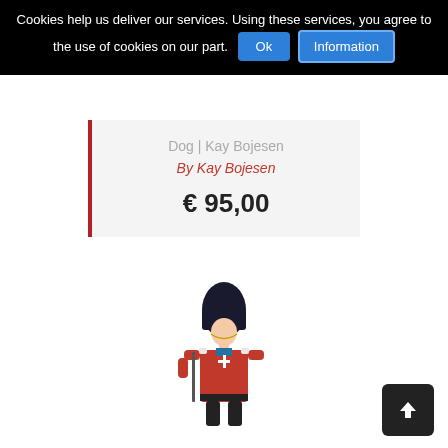Cookies help us deliver our services. Using these services, you agree to the use of cookies on our part. Ok | Information
Dog | Kay Bojesen
By Kay Bojesen
€ 95,00
[Figure (illustration): Toy soldier figurine (Kay Bojesen style) with red uniform, black bearskin hat, partial view from mid-torso upwards]